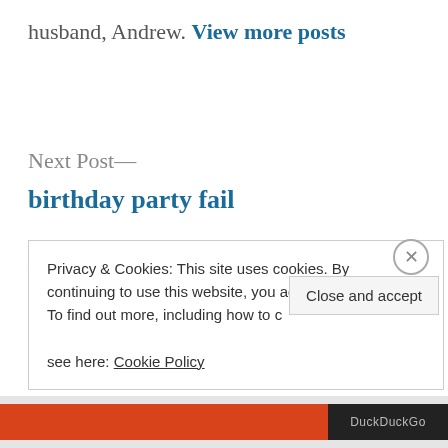husband, Andrew. View more posts
Next Post—
birthday party fail
—Previous Post
when I do stupid crap
Privacy & Cookies: This site uses cookies. By continuing to use this website, you agree to their use. To find out more, including how to c see here: Cookie Policy